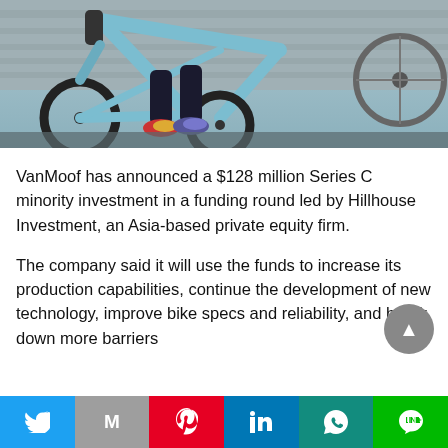[Figure (photo): Close-up photo of a light blue VanMoof electric bicycle, showing the frame, wheel, and a person's legs wearing colorful sneakers. Another bicycle is visible in the background.]
VanMoof has announced a $128 million Series C minority investment in a funding round led by Hillhouse Investment, an Asia-based private equity firm.
The company said it will use the funds to increase its production capabilities, continue the development of new technology, improve bike specs and reliability, and break down more barriers
Twitter | Gmail | Pinterest | LinkedIn | WhatsApp | Line